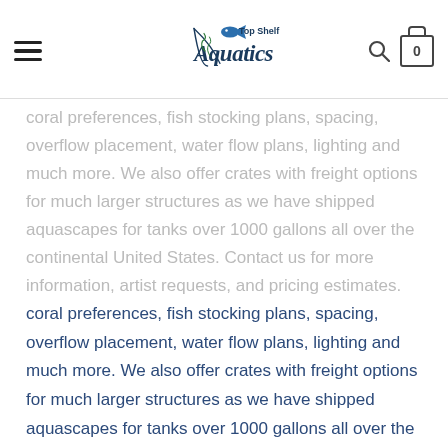Top Shelf Aquatics
coral preferences, fish stocking plans, spacing, overflow placement, water flow plans, lighting and much more. We also offer crates with freight options for much larger structures as we have shipped aquascapes for tanks over 1000 gallons all over the continental United States. Contact us for more information, artist requests, and pricing estimates.
Shipping Costs:
All shipping is through ground only. Rock structure shipments take 1 to 2 business days to prepare for shipping. All rock structures are encased in